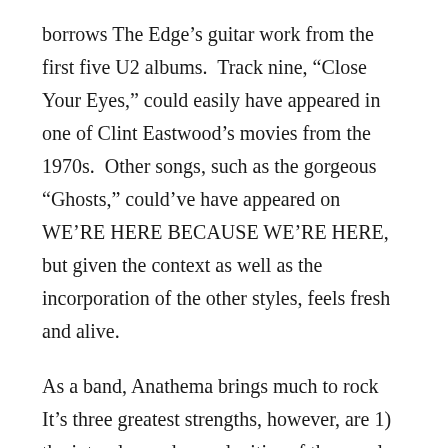borrows The Edge’s guitar work from the first five U2 albums.  Track nine, “Close Your Eyes,” could easily have appeared in one of Clint Eastwood’s movies from the 1970s.  Other songs, such as the gorgeous “Ghosts,” could’ve have appeared on WE’RE HERE BECAUSE WE’RE HERE, but given the context as well as the incorporation of the other styles, feels fresh and alive.
As a band, Anathema brings much to rock  It’s three greatest strengths, however, are 1) the interplay and complexities of the vocals; 2) the flow of an album; and 3) it’s ability to make the spiritual real.
When it comes to these three things, Anathema not only succeeds, but truly excels.  THE OPTIMIST will